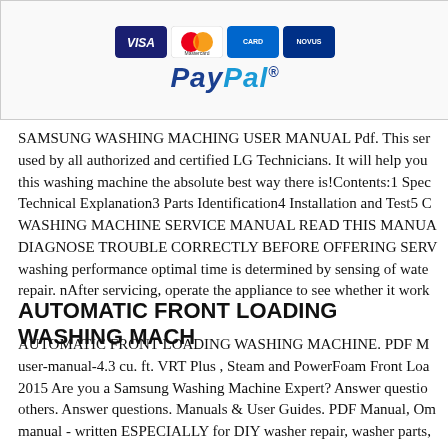[Figure (other): Payment logos: Visa, Mastercard, and other credit card logos, plus PayPal logo]
SAMSUNG WASHING MACHING USER MANUAL Pdf. This ser used by all authorized and certified LG Technicians. It will help you this washing machine the absolute best way there is!Contents:1 Spec Technical Explanation3 Parts Identification4 Installation and Test5 C WASHING MACHINE SERVICE MANUAL READ THIS MANUA DIAGNOSE TROUBLE CORRECTLY BEFORE OFFERING SERV washing performance optimal time is determined by sensing of wate repair. nAfter servicing, operate the appliance to see whether it work
AUTOMATIC FRONT LOADING WASHING MACH
AUTOMATIC FRONT LOADING WASHING MACHINE. PDF M user-manual-4.3 cu. ft. VRT Plus , Steam and PowerFoam Front Loa 2015 Are you a Samsung Washing Machine Expert? Answer questio others. Answer questions. Manuals & User Guides. PDF Manual, Om manual - written ESPECIALLY for DIY washer repair, washer parts,